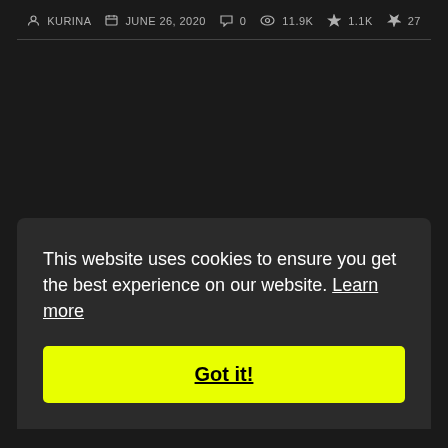KURINA  JUNE 26, 2020  0  11.9K  1.1K  27
This website uses cookies to ensure you get the best experience on our website. Learn more
Got it!